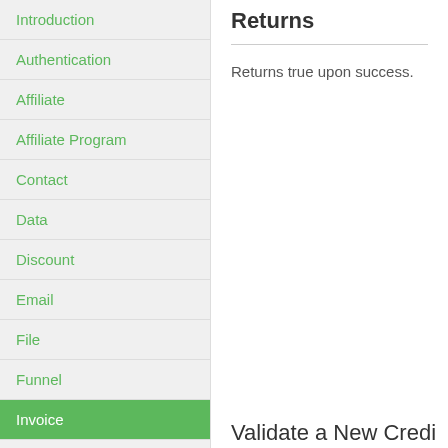Introduction
Authentication
Affiliate
Affiliate Program
Contact
Data
Discount
Email
File
Funnel
Invoice
Returns
Returns true upon success.
Validate a New Credi